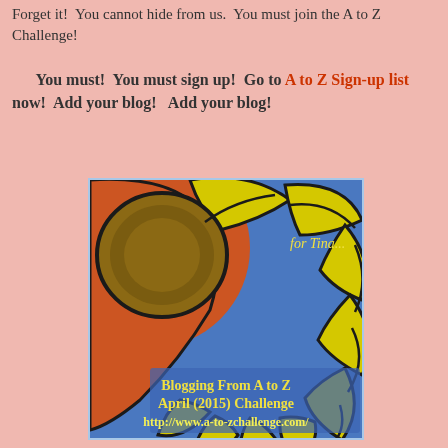Forget it!  You cannot hide from us.  You must join the A to Z Challenge!
You must!  You must sign up!  Go to A to Z Sign-up list now!  Add your blog!   Add your blog!
[Figure (illustration): A stylized sunflower illustration on a blue background with text 'for Tina...' and 'Blogging From A to Z April (2015) Challenge http://www.a-to-zchallenge.com/']